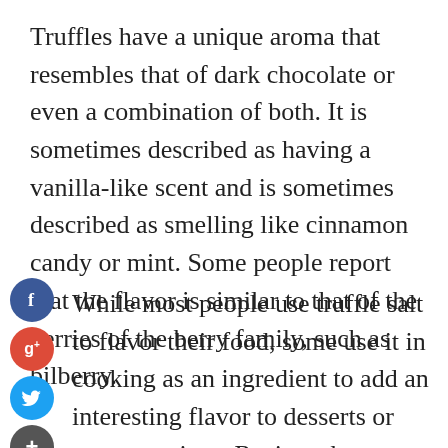Truffles have a unique aroma that resembles that of dark chocolate or even a combination of both. It is sometimes described as having a vanilla-like scent and is sometimes described as smelling like cinnamon candy or mint. Some people report that the flavor is similar to that of the berries of the berry family, such as bilberry.
[Figure (infographic): Social media share buttons: Facebook (blue circle with 'f'), Google+ (red circle with 'g+'), Twitter (light blue circle with bird icon), and a dark grey circle with '+' for more options.]
While most people use truffle salt to flavor their food, some use it in cooking as an ingredient to add an interesting flavor to desserts or savory recipes. Recipes that are usually served at weddings, birthdays, holidays, or special occasions include truffles as an ingredient. These